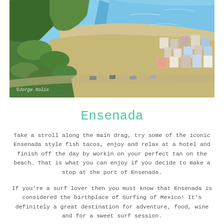[Figure (photo): Aerial view of Ensenada beach with small buildings and shops lining the sandy shore, green vegetation on the left, and turquoise ocean water on the right. Photo credit: @Jorge Solis]
Ensenada
Take a stroll along the main drag, try some of the iconic Ensenada style fish tacos, enjoy and relax at a hotel and finish off the day by workin on your perfect tan on the beach… That is what you can enjoy if you decide to make a stop at the port of Ensenada.
If you're a surf lover then you must know that Ensenada is considered the birthplace of Surfing of Mexico! It's definitely a great destination for adventure, food, wine and for a sweet surf session.